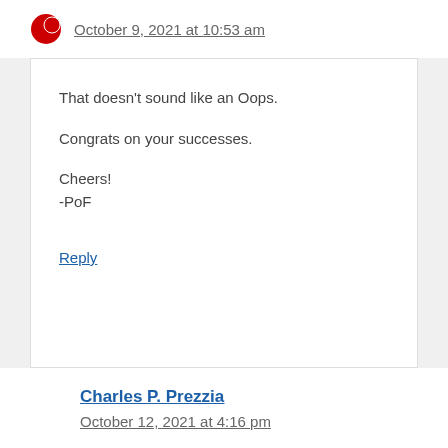October 9, 2021 at 10:53 am
That doesn't sound like an Oops.

Congrats on your successes.

Cheers!
-PoF
Reply
Charles P. Prezzia
October 12, 2021 at 4:16 pm